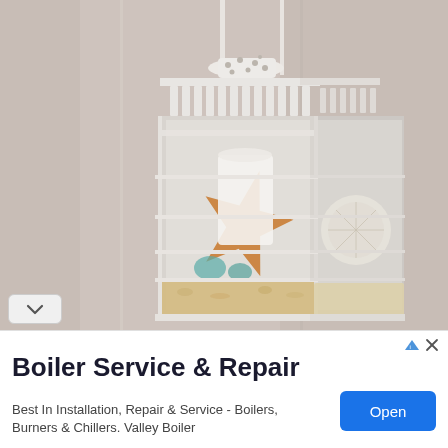[Figure (photo): A white decorative lantern filled with beach-themed items including a starfish, sand dollar, sand, and sea glass, hanging against a neutral gray-beige wall.]
Boiler Service & Repair
Best In Installation, Repair & Service - Boilers, Burners & Chillers. Valley Boiler
Open